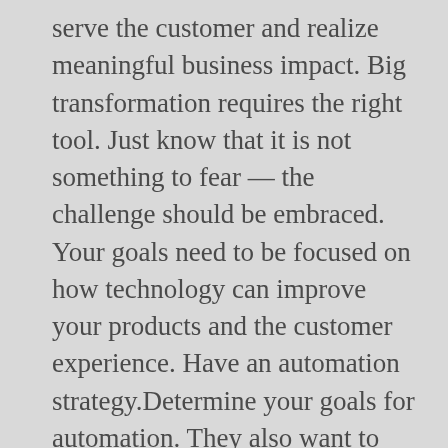serve the customer and realize meaningful business impact. Big transformation requires the right tool. Just know that it is not something to fear — the challenge should be embraced. Your goals need to be focused on how technology can improve your products and the customer experience. Have an automation strategy.Determine your goals for automation. They also want to see results — fast. Skip to main content. Learn what successful digital transformation requires; Learn to avoid pitfalls that cause 70% of transformation efforts to fail and; Learn how to define a phased program that aligns your company for success; This course helps you